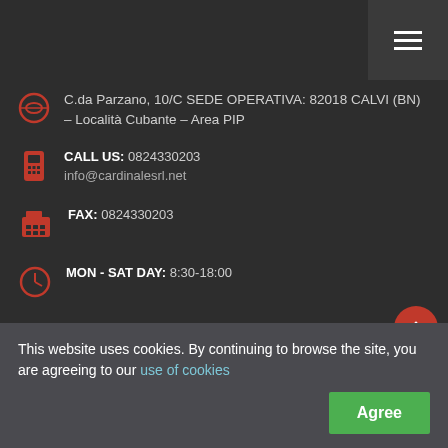C.da Parzano, 10/C SEDE OPERATIVA: 82018 CALVI (BN) – Località Cubante – Area PIP
CALL US: 0824330203
info@cardinalesrl.net
FAX: 0824330203
MON - SAT DAY: 8:30-18:00
SCOPRI
Home
This website uses cookies. By continuing to browse the site, you are agreeing to our use of cookies